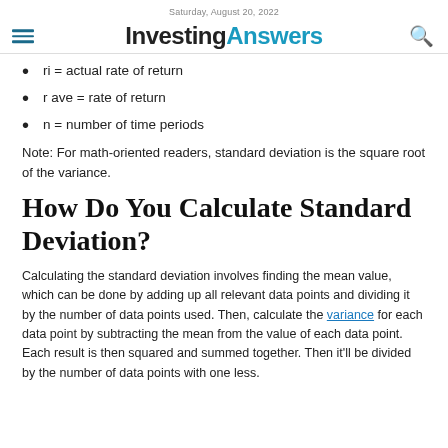Saturday, August 20, 2022
InvestingAnswers
ri = actual rate of return
r ave = rate of return
n = number of time periods
Note: For math-oriented readers, standard deviation is the square root of the variance.
How Do You Calculate Standard Deviation?
Calculating the standard deviation involves finding the mean value, which can be done by adding up all relevant data points and dividing it by the number of data points used. Then, calculate the variance for each data point by subtracting the mean from the value of each data point. Each result is then squared and summed together. Then it'll be divided by the number of data points with one less.